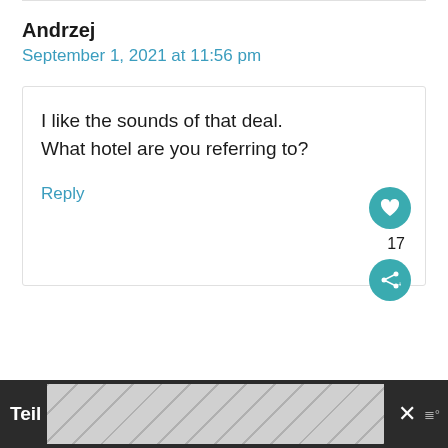Andrzej
September 1, 2021 at 11:56 pm
I like the sounds of that deal. What hotel are you referring to?
Reply
17
Teil